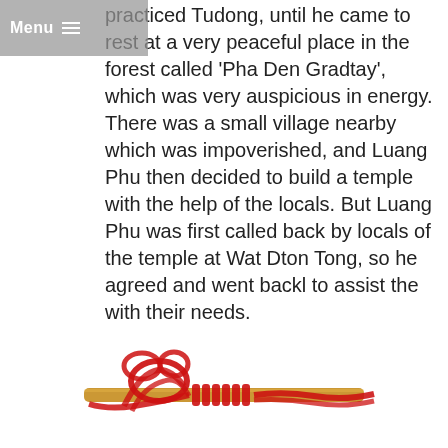Menu
practiced Tudong, until he came to rest at a very peaceful place in the forest called 'Pha Den Gradtay', which was very auspicious in energy. There was a small village nearby which was impoverished, and Luang Phu then decided to build a temple with the help of the locals. But Luang Phu was first called back by locals of the temple at Wat Dton Tong, so he agreed and went backl to assist the with their needs.
[Figure (photo): A red rope or cord tied in decorative knots around what appears to be a wooden or bamboo stick, photographed from above on a white background.]